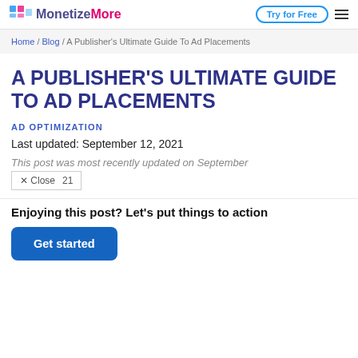MonetizeMore | Try for Free
Home / Blog / A Publisher's Ultimate Guide To Ad Placements
A PUBLISHER'S ULTIMATE GUIDE TO AD PLACEMENTS
AD OPTIMIZATION
Last updated: September 12, 2021
This post was most recently updated on September
× Close 21
Enjoying this post? Let's put things to action
Get started